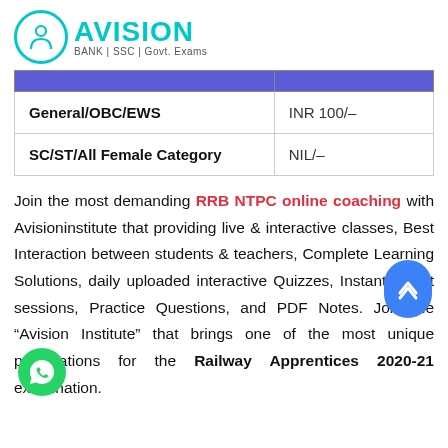[Figure (logo): Avision logo with teal circle and text: AVISION, BANK | SSC | Govt. Exams]
|  |  |
| --- | --- |
| General/OBC/EWS | INR 100/- |
| SC/ST/All Female Category | NIL/- |
Join the most demanding RRB NTPC online coaching with Avisioninstitute that providing live & interactive classes, Best Interaction between students & teachers, Complete Learning Solutions, daily uploaded interactive Quizzes, Instant Doubt sessions, Practice Questions, and PDF Notes. Join the “Avision Institute” that brings one of the most unique preparations for the Railway Apprentices 2020-21 examination.